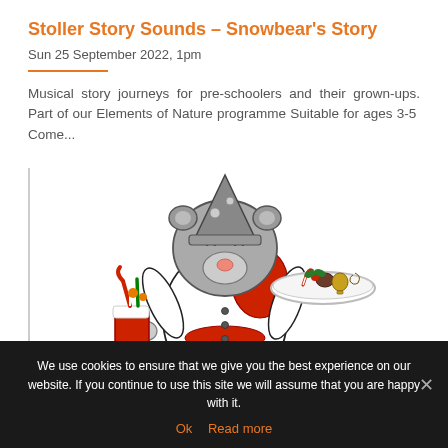Stoller Story Sounds – Snowbear's Story
Sun 25 September 2022, 1pm
Musical story journeys for pre-schoolers and their grown-ups. Part of our Elements of Nature programme Suitable for ages 3-5  Come...
[Figure (illustration): Cartoon illustration of a grey bear-like character dressed in a white chef outfit and red accents, holding a red Christmas stocking filled with candy canes in one hand and a plate of Christmas treats (candy cane, chocolates, holly) in the other.]
We use cookies to ensure that we give you the best experience on our website. If you continue to use this site we will assume that you are happy with it.
Ok   Read more